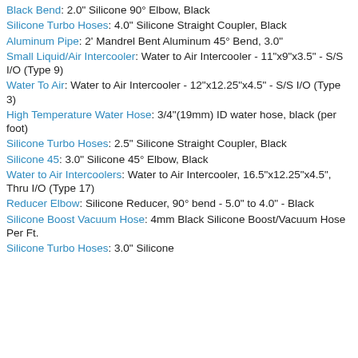Black Bend: 2.0" Silicone 90° Elbow, Black
Silicone Turbo Hoses: 4.0" Silicone Straight Coupler, Black
Aluminum Pipe: 2' Mandrel Bent Aluminum 45° Bend, 3.0"
Small Liquid/Air Intercooler: Water to Air Intercooler - 11"x9"x3.5" - S/S I/O (Type 9)
Water To Air: Water to Air Intercooler - 12"x12.25"x4.5" - S/S I/O (Type 3)
High Temperature Water Hose: 3/4"(19mm) ID water hose, black (per foot)
Silicone Turbo Hoses: 2.5" Silicone Straight Coupler, Black
Silicone 45: 3.0" Silicone 45° Elbow, Black
Water to Air Intercoolers: Water to Air Intercooler, 16.5"x12.25"x4.5", Thru I/O (Type 17)
Reducer Elbow: Silicone Reducer, 90° bend - 5.0" to 4.0" - Black
Silicone Boost Vacuum Hose: 4mm Black Silicone Boost/Vacuum Hose Per Ft.
Silicone Turbo Hoses: 3.0" Silicone